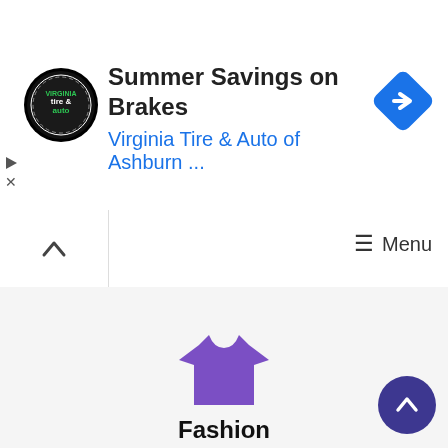[Figure (screenshot): Advertisement banner for Virginia Tire & Auto of Ashburn with logo, title 'Summer Savings on Brakes', subtitle link, and navigation arrow icon]
≡ Menu
[Figure (illustration): Purple t-shirt icon with label 'Fashion' below it, representing a fashion category]
[Figure (illustration): Purple circular scroll-to-top button with upward chevron arrow]